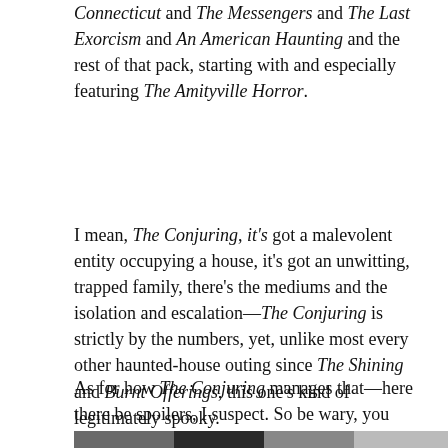Connecticut and The Messengers and The Last Exorcism and An American Haunting and the rest of that pack, starting with and especially featuring The Amityville Horror.
I mean, The Conjuring, it's got a malevolent entity occupying a house, it's got an unwitting, trapped family, there's the mediums and the isolation and escalation—The Conjuring is strictly by the numbers, yet, unlike most every other haunted-house outing since The Shining and Burnt Offerings, this one's kind of legitimately spooky.
As for how The Conjuring manages that—here there be spoilers, I suspect. So be wary, you not-yet-watchers.
[Figure (photo): A man (actor) in foreground with dark hair, looking forward; a figure in white dress with ruffled hem visible in upper right background, in an outdoor blurred setting.]